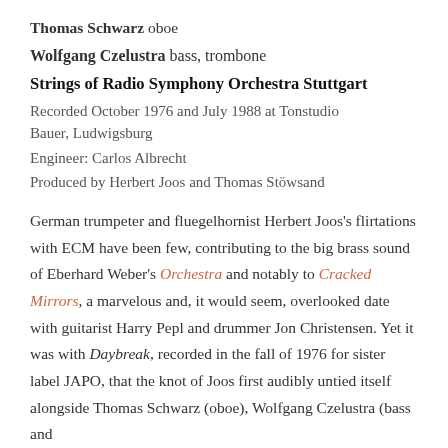Thomas Schwarz oboe
Wolfgang Czelustra bass, trombone
Strings of Radio Symphony Orchestra Stuttgart
Recorded October 1976 and July 1988 at Tonstudio Bauer, Ludwigsburg
Engineer: Carlos Albrecht
Produced by Herbert Joos and Thomas Stöwsand
German trumpeter and fluegelhornist Herbert Joos's flirtations with ECM have been few, contributing to the big brass sound of Eberhard Weber's Orchestra and notably to Cracked Mirrors, a marvelous and, it would seem, overlooked date with guitarist Harry Pepl and drummer Jon Christensen. Yet it was with Daybreak, recorded in the fall of 1976 for sister label JAPO, that the knot of Joos first audibly untied itself alongside Thomas Schwarz (oboe), Wolfgang Czelustra (bass and